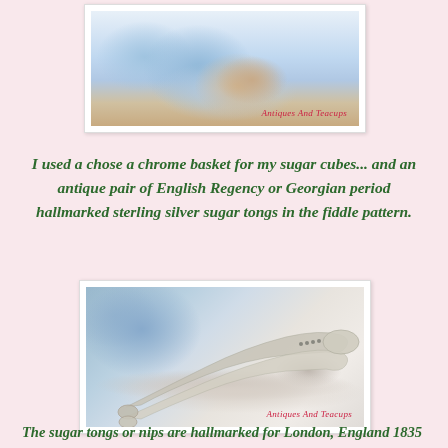[Figure (photo): Photo of a chrome basket with sugar cubes on a blue and white floral cloth, watermarked 'Antiques And Teacups']
I used a chose a chrome basket for my sugar cubes... and an antique pair of English Regency or Georgian period hallmarked sterling silver sugar tongs in the fiddle pattern.
[Figure (photo): Photo of antique hallmarked sterling silver sugar tongs in the fiddle pattern on a blue and white lace cloth, watermarked 'Antiques And Teacups']
The sugar tongs or nips are hallmarked for London, England 1835 and the maker ABS for Adey Bellamy Savory and measure